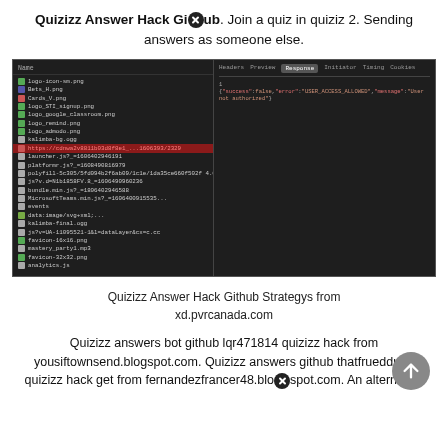Quizizz Answer Hack Github. Join a quiz in quiziz 2. Sending answers as someone else.
[Figure (screenshot): Browser developer tools screenshot showing network requests on the left panel (list of files/resources) and the Response tab on the right showing JSON with 'success':false, 'error':'USER_ACCESS_ALLOWED', 'message':'User not authorized']
Quizizz Answer Hack Github Strategys from xd.pvrcanada.com
Quizizz answers bot github lqr471814 quizizz hack from yousiftownsend.blogspot.com. Quizizz answers github thatfrueddued quizizz hack get from fernandezfrancer48.blogspot.com. An alternative